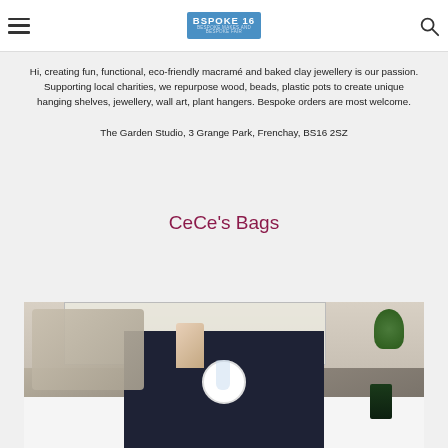BSPOKE 16 - BESPOKE MAKES AND BESPOKE FAIR
Hi, creating fun, functional, eco-friendly macramé and baked clay jewellery is our passion. Supporting local charities, we repurpose wood, beads, plastic pots to create unique hanging shelves, jewellery, wall art, plant hangers. Bespoke orders are most welcome.

The Garden Studio, 3 Grange Park, Frenchay, BS16 2SZ
CeCe's Bags
[Figure (photo): Photo of a table setting with a dark navy table runner, white plate, glass, a floral fabric bag, green foliage and a Christmas-themed bag on the right side]